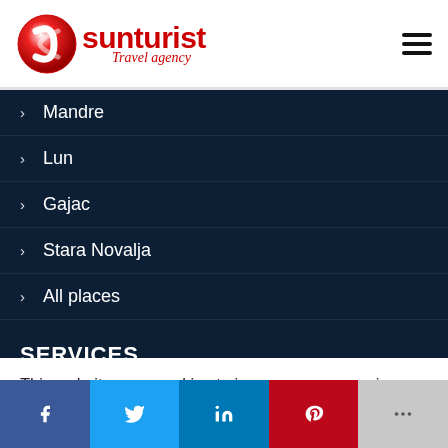[Figure (logo): Sunturist Travel Agency logo with red globe icon and red text]
Mandre
Lun
Gajac
Stara Novalja
All places
SERVICES
Tours
Accommodation
This website uses cookies to improve your experience. We'll assume you're ok with this, but you can opt-out if you wish.
[Figure (infographic): Social share bar with Facebook, Twitter, LinkedIn, Pinterest, and More buttons]